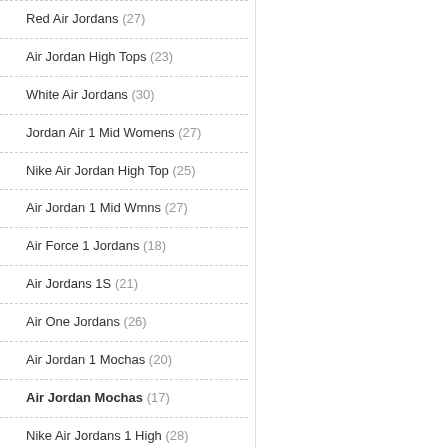Red Air Jordans (27)
Air Jordan High Tops (23)
White Air Jordans (30)
Jordan Air 1 Mid Womens (27)
Nike Air Jordan High Top (25)
Air Jordan 1 Mid Wmns (27)
Air Force 1 Jordans (18)
Air Jordans 1S (21)
Air One Jordans (26)
Air Jordan 1 Mochas (20)
Air Jordan Mochas (17)
Nike Air Jordans 1 High (28)
Air Jordans 1 Mid Womens (26)
Air Jordan High Top (27)
Air Ones Jordans (25)
Nike Air Jordan High Top (35)